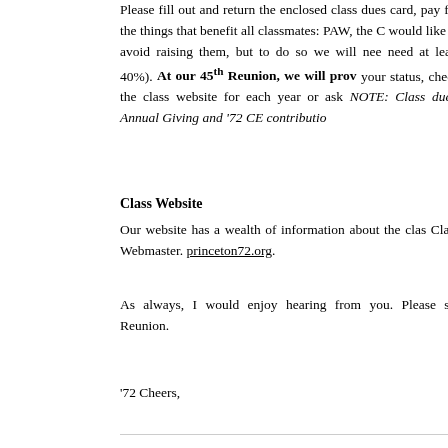Please fill out and return the enclosed class dues card, pay for the things that benefit all classmates: PAW, the C… would like to avoid raising them, but to do so we will nee… need at least 40%). At our 45th Reunion, we will prov… your status, check the class website for each year or ask… NOTE: Class dues, Annual Giving and '72 CE contributio…
Class Website
Our website has a wealth of information about the clas… Class Webmaster. princeton72.org.
As always, I would enjoy hearing from you. Please ser… Reunion.
'72 Cheers,